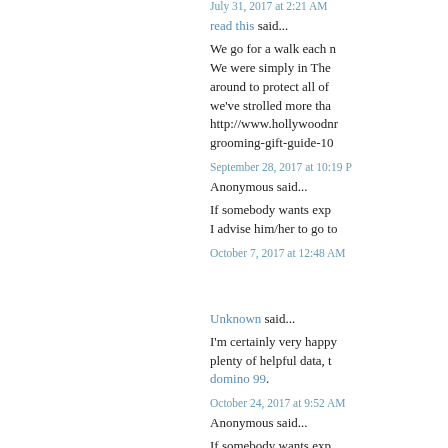July 31, 2017 at 2:21 AM
read this said...
We go for a walk each n... We were simply in The... around to protect all of... we've strolled more tha... http://www.hollywoodnr... grooming-gift-guide-10...
September 28, 2017 at 10:19 P...
Anonymous said...
If somebody wants expe... I advise him/her to go to...
October 7, 2017 at 12:48 AM
[Figure (illustration): Blogger profile avatar - orange circle with white B letter]
Unknown said...
I'm certainly very happy... plenty of helpful data, t... domino 99.
October 24, 2017 at 9:52 AM
Anonymous said...
If somebody wants expe... I advise him/her to go to...